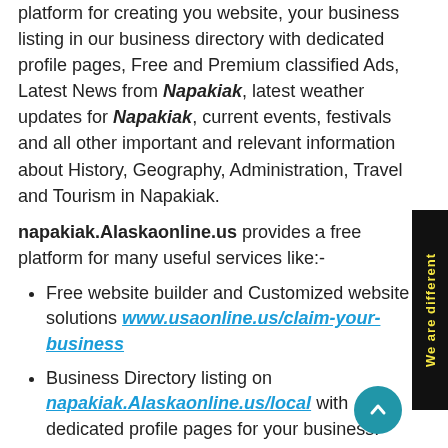platform for creating you website, your business listing in our business directory with dedicated profile pages, Free and Premium classified Ads, Latest News from Napakiak, latest weather updates for Napakiak, current events, festivals and all other important and relevant information about History, Geography, Administration, Travel and Tourism in Napakiak.
napakiak.Alaskaonline.us provides a free platform for many useful services like:-
Free website builder and Customized website solutions www.usaonline.us/claim-your-business
Business Directory listing on napakiak.Alaskaonline.us/local with dedicated profile pages for your business.
Free Classified Ads on napakiak.alaskaonline.us/ads
Jobs postings napakiak.alaskaonline.us/jobs
Matrimonial Ads napakiak.alaskaonline.us/ads/matrimonial